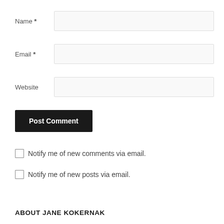Name *
Email *
Website
Post Comment
Notify me of new comments via email.
Notify me of new posts via email.
ABOUT JANE KOKERNAK